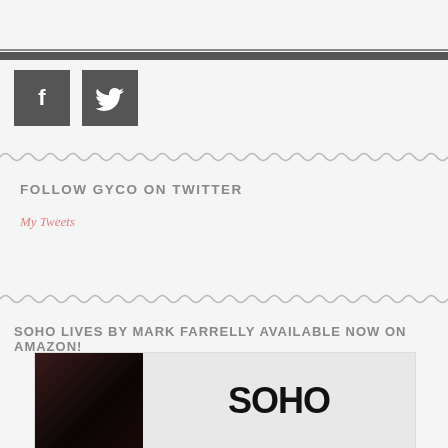[Figure (illustration): Facebook and Twitter social media icon boxes in dark gray]
FOLLOW GYCO ON TWITTER
My Tweets
SOHO LIVES BY MARK FARRELLY AVAILABLE NOW ON AMAZON!
[Figure (photo): Book cover for SOHO Lives by Mark Farrelly showing a dark portrait photo on the left and the word SOHO in large bold black text on the right]